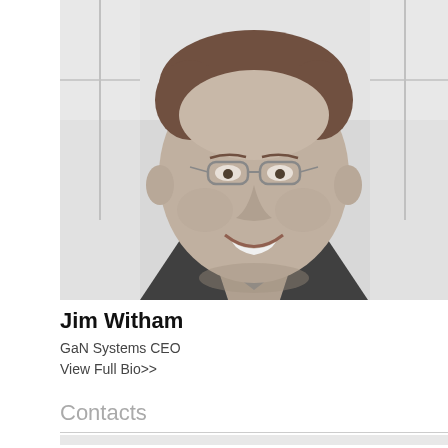[Figure (photo): Black and white professional headshot of Jim Witham, a middle-aged man with glasses, brown hair, wearing a dark blazer and collared shirt, smiling, with a bright window background]
Jim Witham
GaN Systems CEO
View Full Bio>>
Contacts